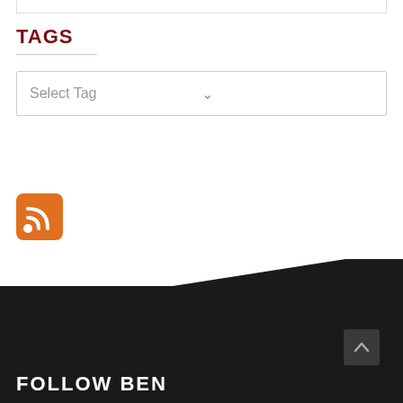TAGS
Select Tag
[Figure (other): RSS feed icon — orange rounded square with white WiFi/RSS symbol]
FOLLOW BEN